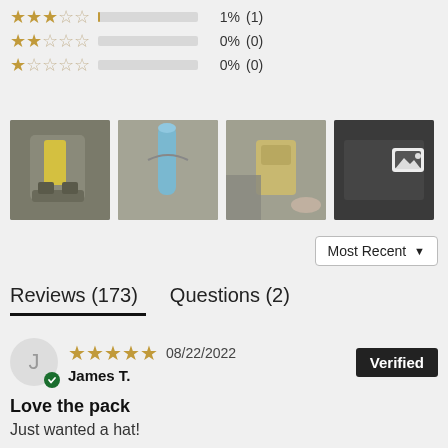[Figure (infographic): Star rating rows: 3-star row with 1% (1), 2-star row with 0% (0), 1-star row with 0% (0)]
[Figure (photo): Four product photo thumbnails showing military/tactical backpack from various angles]
Most Recent ▼
Reviews (173)   Questions (2)
★★★★★ 08/22/2022  Verified
James T.
Love the pack
Just wanted a hat!